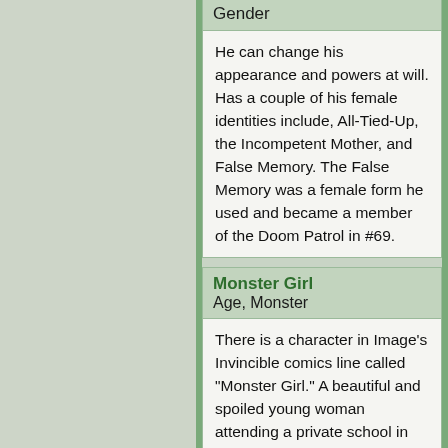| Character | Description |
| --- | --- |
| Gender (partial header) | He can change his appearance and powers at will. Has a couple of his female identities include, All-Tied-Up, the Incompetent Mother, and False Memory. The False Memory was a female form he used and became a member of the Doom Patrol in #69. |
| Monster Girl
Age, Monster | There is a character in Image's Invincible comics line called "Monster Girl." A beautiful and spoiled young woman attending a private school in Europe, she was cursed by a witch whose grandson she had been having an affair with. Later, |